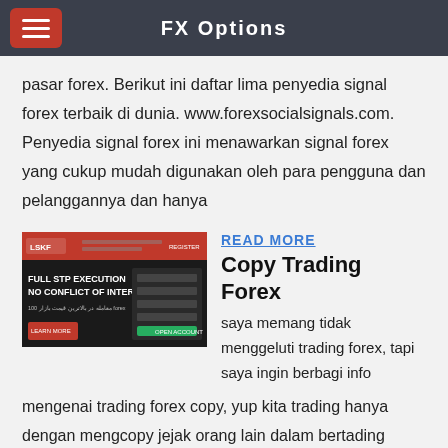FX Options
pasar forex. Berikut ini daftar lima penyedia signal forex terbaik di dunia. www.forexsocialsignals.com. Penyedia signal forex ini menawarkan signal forex yang cukup mudah digunakan oleh para pengguna dan pelanggannya dan hanya
[Figure (screenshot): Screenshot of a forex broker website showing 'FULL STP EXECUTION NO CONFLICT OF INTEREST' text on dark background with a form]
READ MORE
Copy Trading Forex
saya memang tidak menggeluti trading forex, tapi saya ingin berbagi info mengenai trading forex copy, yup kita trading hanya dengan mengcopy jejak orang lain dalam bertading istilahnya kita ngekor kalau yang kita ikuti untung kita untung kalau rugi ya kita rugi, namun dari itu semua ada yang harus di garis bawahi bahwa tak ada yang mudah jika menginginkan sesuatu untuk lebih jelasnya silakan